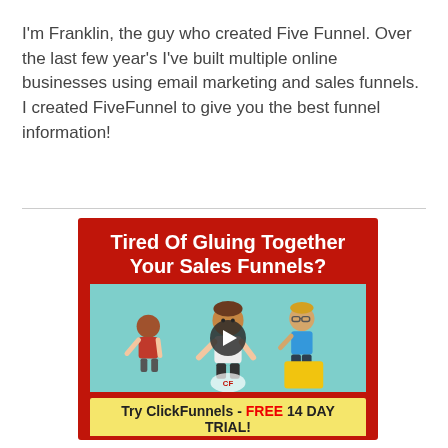I'm Franklin, the guy who created Five Funnel. Over the last few year's I've built multiple online businesses using email marketing and sales funnels. I created FiveFunnel to give you the best funnel information!
[Figure (illustration): Advertisement banner for ClickFunnels with red background. Headline: 'Tired Of Gluing Together Your Sales Funnels?' with a video thumbnail showing cartoon characters and a play button. Below: 'Try ClickFunnels - FREE 14 DAY TRIAL!' call-to-action button in yellow.]